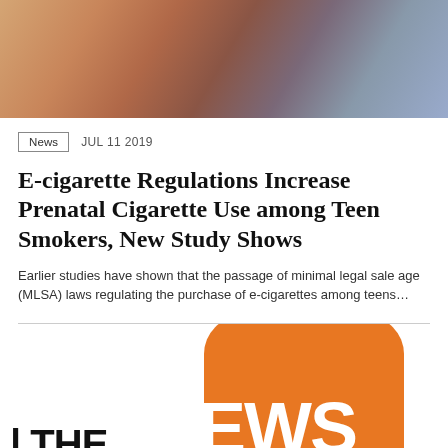[Figure (photo): A person holding what appears to be an e-cigarette or vaping device, close-up photo with warm tones]
News  JUL 11 2019
E-cigarette Regulations Increase Prenatal Cigarette Use among Teen Smokers, New Study Shows
Earlier studies have shown that the passage of minimal legal sale age (MLSA) laws regulating the purchase of e-cigarettes among teens...
[Figure (logo): Orange rounded rectangle logo with white text 'THE NEWS' in bold, large font]